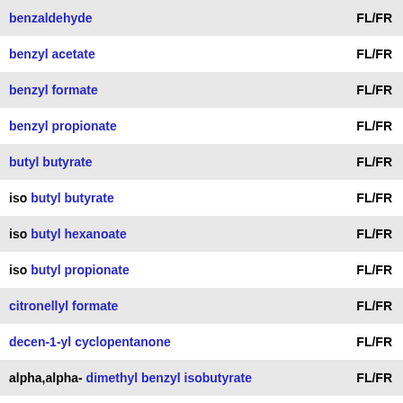| Name | Code |
| --- | --- |
| benzaldehyde | FL/FR |
| benzyl acetate | FL/FR |
| benzyl formate | FL/FR |
| benzyl propionate | FL/FR |
| butyl butyrate | FL/FR |
| iso butyl butyrate | FL/FR |
| iso butyl hexanoate | FL/FR |
| iso butyl propionate | FL/FR |
| citronellyl formate | FL/FR |
| decen-1-yl cyclopentanone | FL/FR |
| alpha,alpha- dimethyl benzyl isobutyrate | FL/FR |